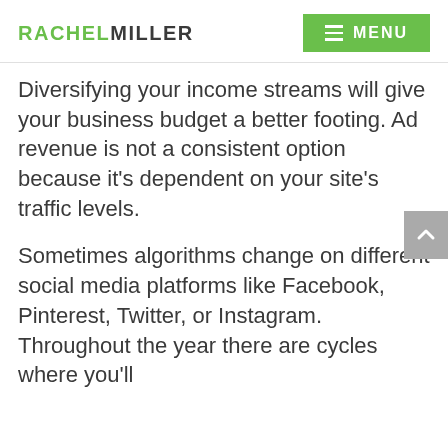RACHELMILLER | MENU
Diversifying your income streams will give your business budget a better footing. Ad revenue is not a consistent option because it's dependent on your site's traffic levels.
Sometimes algorithms change on different social media platforms like Facebook, Pinterest, Twitter, or Instagram. Throughout the year there are cycles where you'll